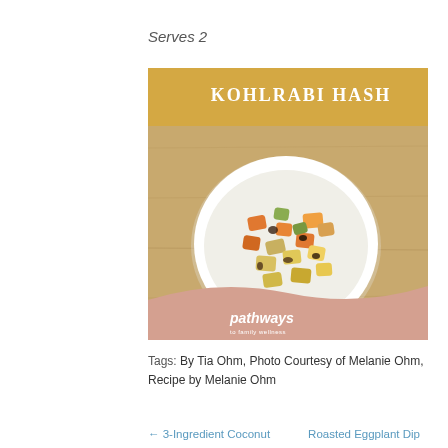Serves 2
[Figure (photo): Kohlrabi Hash - a bowl of roasted vegetable hash on a wooden surface, from Pathways to Family Wellness. Title text reads KOHLRABI HASH in white on a golden-yellow banner at top.]
Tags: By Tia Ohm, Photo Courtesy of Melanie Ohm, Recipe by Melanie Ohm
← 3-Ingredient Coconut
Roasted Eggplant Dip